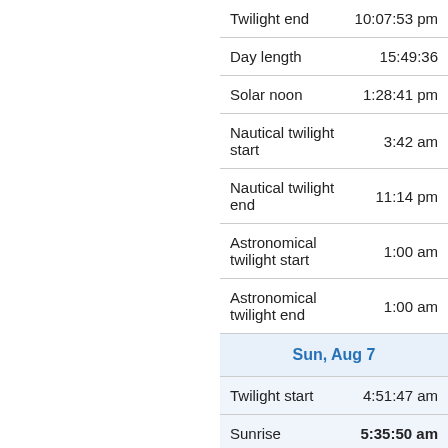| Event | Time |
| --- | --- |
| Twilight end | 10:07:53 pm |
| Day length | 15:49:36 |
| Solar noon | 1:28:41 pm |
| Nautical twilight start | 3:42 am |
| Nautical twilight end | 11:14 pm |
| Astronomical twilight start | 1:00 am |
| Astronomical twilight end | 1:00 am |
| Sun, Aug 7 |  |
| Twilight start | 4:51:47 am |
| Sunrise | 5:35:50 am |